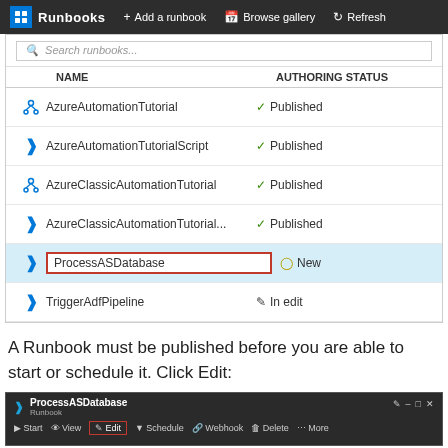[Figure (screenshot): Azure Automation Runbooks panel showing a list of runbooks with their authoring status. Items shown: AzureAutomationTutorial (Published), AzureAutomationTutorialScript (Published), AzureClassicAutomationTutorial (Published), AzureClassicAutomationTutorial... (Published), ProcessASDatabase (New, highlighted with red border and blue background row), TriggerAdfPipeline (In edit). Toolbar at top has Add a runbook, Browse gallery, and Refresh buttons.]
A Runbook must be published before you are able to start or schedule it. Click Edit:
[Figure (screenshot): ProcessASDatabase Runbook window header showing toolbar with Start, View, Edit (highlighted with red border), Schedule, Webhook, Delete, and More buttons.]